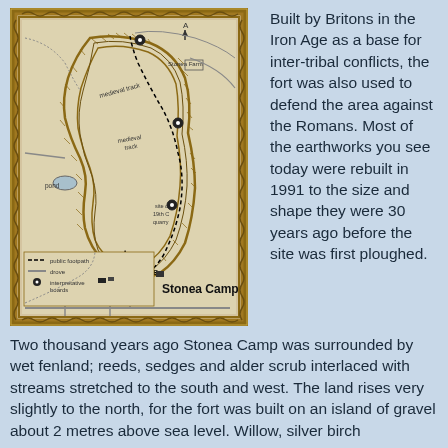[Figure (map): Map of Stonea Camp showing public footpath (dashed line), drove roads (solid lines), interpretative boards (circle markers), pond, medieval track, site of 19th C quarry, YOU ARE HERE marker, and Stonea Farm. Decorated border with Celtic/rope pattern. North arrow shown. Legend at bottom.]
Built by Britons in the Iron Age as a base for inter-tribal conflicts, the fort was also used to defend the area against the Romans. Most of the earthworks you see today were rebuilt in 1991 to the size and shape they were 30 years ago before the site was first ploughed.
Two thousand years ago Stonea Camp was surrounded by wet fenland; reeds, sedges and alder scrub interlaced with streams stretched to the south and west. The land rises very slightly to the north, for the fort was built on an island of gravel about 2 metres above sea level. Willow, silver birch